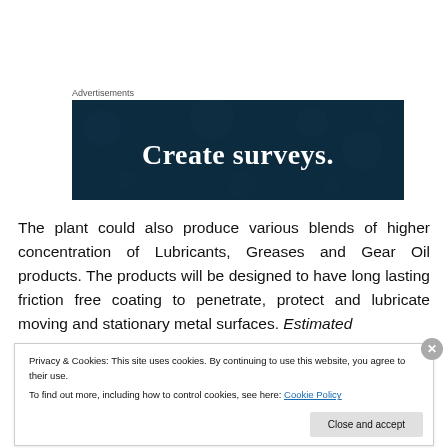Advertisements
[Figure (other): Dark navy advertisement banner with decorative dot pattern reading 'Create surveys.']
The plant could also produce various blends of higher concentration of Lubricants, Greases and Gear Oil products. The products will be designed to have long lasting friction free coating to penetrate, protect and lubricate moving and stationary metal surfaces. Estimated
Privacy & Cookies: This site uses cookies. By continuing to use this website, you agree to their use.
To find out more, including how to control cookies, see here: Cookie Policy
[Close and accept]